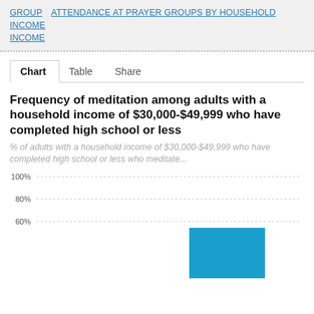GROUP  ATTENDANCE AT PRAYER GROUPS BY HOUSEHOLD INCOME
Chart  Table  Share
Frequency of meditation among adults with a household income of $30,000-$49,999 who have completed high school or less
% of adults with a household income of $30,000-$49,999 who have completed high school or less who meditate...
[Figure (bar-chart): Frequency of meditation among adults with a household income of $30,000-$49,999 who have completed high school or less]